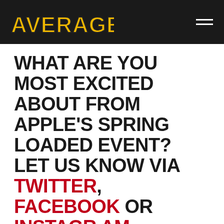AVERAGE JOES
WHAT ARE YOU MOST EXCITED ABOUT FROM APPLE'S SPRING LOADED EVENT? LET US KNOW VIA TWITTER, FACEBOOK OR INSTAGRAM.
Tags: AirTag, Apple, Apple iPhone, Apple Mac, Apple TV, imac, Spring Loaded
WANT TO BE KEPT IN THE LOOP?